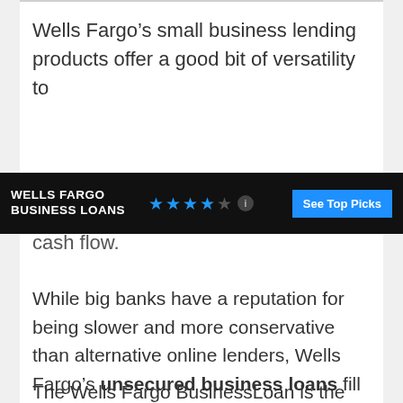Wells Fargo’s small business lending products offer a good bit of versatility to
WELLS FARGO BUSINESS LOANS ★★★★☆ See Top Picks
cash flow.
While big banks have a reputation for being slower and more conservative than alternative online lenders, Wells Fargo’s unsecured business loans fill a similar niche, with fast turnaround times and simplified applications. These loans come in two flavors: Wells Fargo BusinessLoan and FastFlex.
The Wells Fargo BusinessLoan is the